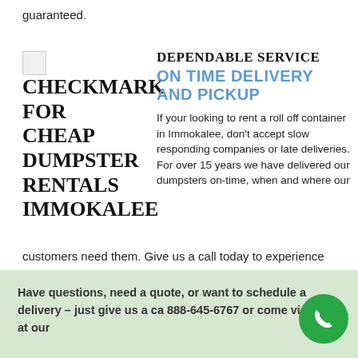guaranteed.
[Figure (illustration): Small checkmark/image icon placeholder]
DEPENDABLE SERVICE
ON TIME DELIVERY AND PICKUP
CHECKMARK FOR CHEAP DUMPSTER RENTALS IMMOKALEE
If your looking to rent a roll off container in Immokalee, don't accept slow responding companies or late deliveries. For over 15 years we have delivered our dumpsters on-time, when and where our customers need them. Give us a call today to experience why we're the #1 affordable dumpster rental company nationwide.
Have questions, need a quote, or want to schedule a delivery – just give us a call 888-645-6767 or come visit us at our